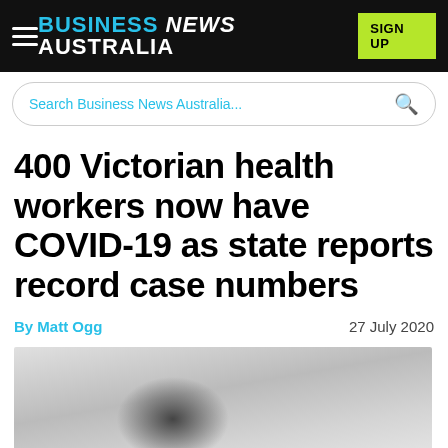BUSINESS NEWS AUSTRALIA
Search Business News Australia...
400 Victorian health workers now have COVID-19 as state reports record case numbers
By Matt Ogg    27 July 2020
[Figure (photo): Blurred/obscured photograph, content not discernible]